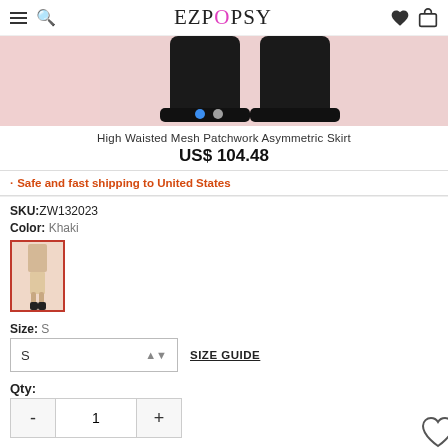EZPOPSY
[Figure (photo): Product photo showing the bottom of a high waisted mesh patchwork asymmetric skirt, pink background, dark chunky boots visible]
High Waisted Mesh Patchwork Asymmetric Skirt
US$ 104.48
Safe and fast shipping to United States
SKU:ZW132023
Color: Khaki
[Figure (photo): Small color swatch thumbnail showing khaki-colored skirt on a model]
Size: S
S  SIZE GUIDE